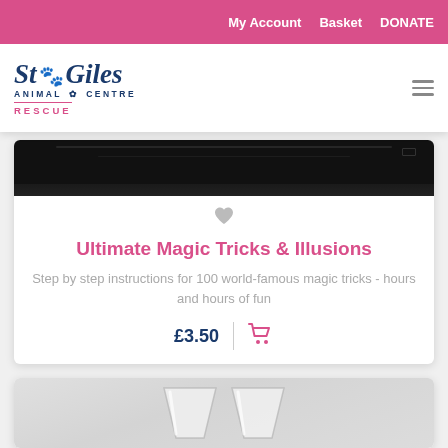My Account  Basket  DONATE
[Figure (logo): St Giles Animal Centre Rescue logo with paw print]
[Figure (photo): Dark/black product image top portion (partially visible)]
♡
Ultimate Magic Tricks & Illusions
Step by step instructions for 100 world-famous magic tricks - hours and hours of fun
£3.50
[Figure (photo): Two clear plastic/glass cups partially visible at bottom of page]